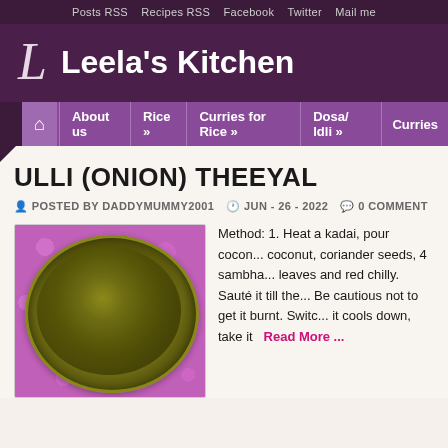Posts RSS   Recipes RSS   Facebook   Twitter   Mail me
Leela's Kitchen
About us   Rice »   Curries for Rice »   Dosa/ Idli »   Curries
ULLI (ONION) THEEYAL
POSTED BY DADDYMUMMY2001   JUN - 26 - 2022   0 COMMENT
[Figure (photo): A bowl of Ulli (Onion) Theeyal dish, dark brown curry in a silver bowl, with pink flowers in the background]
Method: 1. Heat a kadai, pour cocon... coconut, coriander seeds, 4 sambha... leaves and red chilly. Sauté it till the... Be cautious not to get it burnt. Switc... it cools down, take it   Read More ...